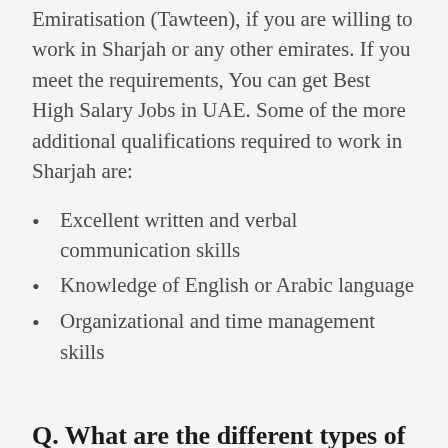Emiratisation (Tawteen), if you are willing to work in Sharjah or any other emirates. If you meet the requirements, You can get Best High Salary Jobs in UAE. Some of the more additional qualifications required to work in Sharjah are:
Excellent written and verbal communication skills
Knowledge of English or Arabic language
Organizational and time management skills
Q. What are the different types of licenses required to work in Sharjah?
There is only one type of license required to work in Sharjah, known as a work permit. This work permit is